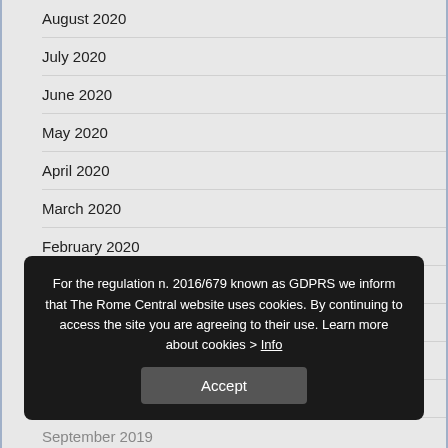August 2020
July 2020
June 2020
May 2020
April 2020
March 2020
February 2020
January 2020
December 2019
November 2019
October 2019
September 2019
August 2019
July 2019
June 2019
May 2019
For the regulation n. 2016/679 known as GDPRS we inform that The Rome Central website uses cookies. By continuing to access the site you are agreeing to their use. Learn more about cookies > Info